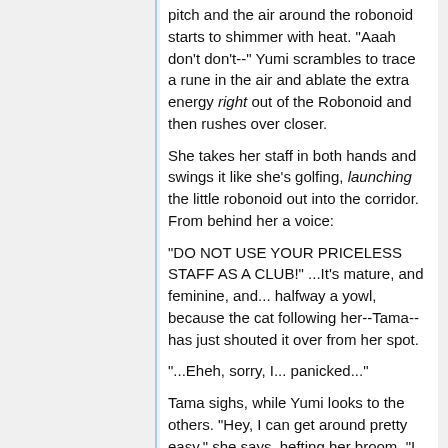pitch and the air around the robonoid starts to shimmer with heat. "Aaah don't don't--" Yumi scrambles to trace a rune in the air and ablate the extra energy right out of the Robonoid and then rushes over closer.
She takes her staff in both hands and swings it like she's golfing, launching the little robonoid out into the corridor. From behind her a voice:
"DO NOT USE YOUR PRICELESS STAFF AS A CLUB!" ...It's mature, and feminine, and... halfway a yowl, because the cat following her--Tama--has just shouted it over from her spot.
"...Eheh, sorry, I... panicked..."
Tama sighs, while Yumi looks to the others. "Hey, I can get around pretty easy," she says, hefting her broom. "I